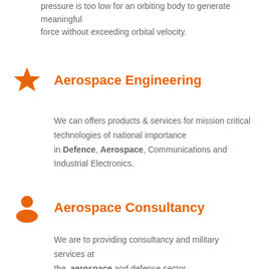pressure is too low for an orbiting body to generate meaningful force without exceeding orbital velocity.
Aerospace Engineering
We can offers products & services for mission critical technologies of national importance in Defence, Aerospace, Communications and Industrial Electronics.
Aerospace Consultancy
We are to providing consultancy and military services at the aerospace and defense sector.